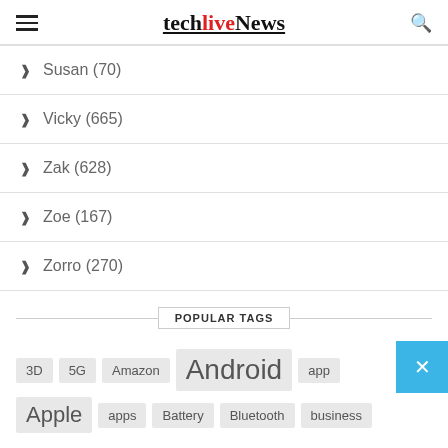techliveNews
Susan (70)
Vicky (665)
Zak (628)
Zoe (167)
Zorro (270)
POPULAR TAGS
3D  5G  Amazon  Android  app  Apple  apps  Battery  Bluetooth  business